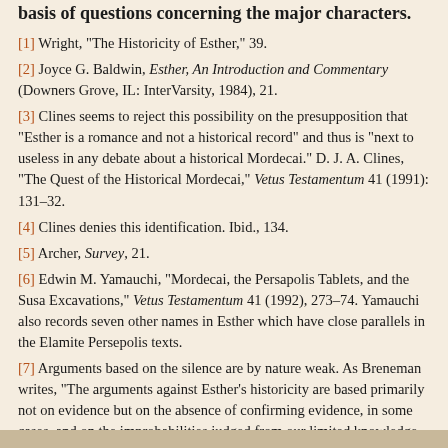basis of questions concerning the major characters.
[1] Wright, "The Historicity of Esther," 39.
[2] Joyce G. Baldwin, Esther, An Introduction and Commentary (Downers Grove, IL: InterVarsity, 1984), 21.
[3] Clines seems to reject this possibility on the presupposition that "Esther is a romance and not a historical record" and thus is "next to useless in any debate about a historical Mordecai." D. J. A. Clines, "The Quest of the Historical Mordecai," Vetus Testamentum 41 (1991): 131–32.
[4] Clines denies this identification. Ibid., 134.
[5] Archer, Survey, 21.
[6] Edwin M. Yamauchi, "Mordecai, the Persapolis Tablets, and the Susa Excavations," Vetus Testamentum 41 (1992), 273–74. Yamauchi also records seven other names in Esther which have close parallels in the Elamite Persepolis texts.
[7] Arguments based on the silence are by nature weak. As Breneman writes, "The arguments against Esther's historicity are based primarily not on evidence but on the absence of confirming evidence, in some cases, and on the improbabilities judged from our limited knowledge of the ancient world" (Mervin Breneman, Ezra, Nehemiah, Esther, New American Commentary [Nashville: Broadman & Holman , 1993], 281).